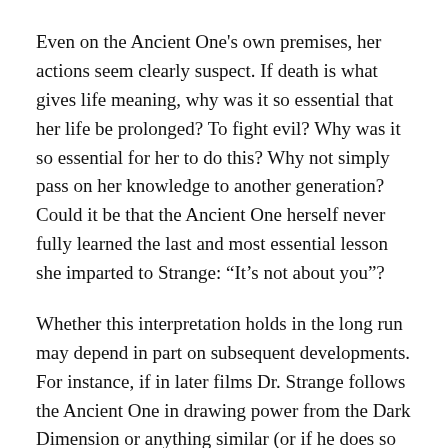Even on the Ancient One's own premises, her actions seem clearly suspect. If death is what gives life meaning, why was it so essential that her life be prolonged? To fight evil? Why was it so essential for her to do this? Why not simply pass on her knowledge to another generation? Could it be that the Ancient One herself never fully learned the last and most essential lesson she imparted to Strange: “It’s not about you”?
Whether this interpretation holds in the long run may depend in part on subsequent developments. For instance, if in later films Dr. Strange follows the Ancient One in drawing power from the Dark Dimension or anything similar (or if he does so and it isn’t made clear that, like Tony Stark creating Ultron in Avengers: Age of Ultron, this is a terrible mistake), then Doctor Strange’s